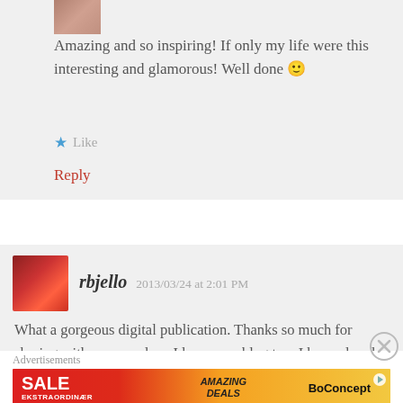[Figure (photo): Small thumbnail avatar of a person, partial view at top]
Amazing and so inspiring! If only my life were this interesting and glamorous! Well done 🙂
★ Like
Reply
[Figure (photo): Avatar thumbnail showing a red car]
rbjello   2013/03/24 at 2:01 PM
What a gorgeous digital publication. Thanks so much for sharing with your readers. I love your blog too. I have already shared your blog with my friends! Cannot wait for the next edition. Congrats, again!
Advertisements
[Figure (infographic): BoConcept advertisement banner: SALE EKSTRAORDINÆR / AMAZING DEALS / BoConcept]